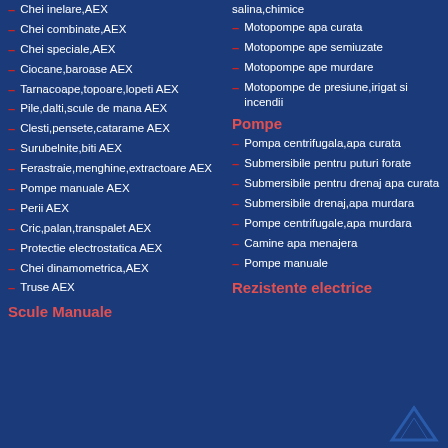Chei inelare,AEX
Chei combinate,AEX
Chei speciale,AEX
Ciocane,baroase AEX
Tarnacoape,topoare,lopeti AEX
Pile,dalti,scule de mana AEX
Clesti,pensete,catarame AEX
Surubelnite,biti AEX
Ferastraie,menghine,extractoare AEX
Pompe manuale AEX
Perii AEX
Cric,palan,transpalet AEX
Protectie electrostatica AEX
Chei dinamometrica,AEX
Truse AEX
Scule Manuale
salina,chimice
Motopompe apa curata
Motopompe ape semiuzate
Motopompe ape murdare
Motopompe de presiune,irigat si incendii
Pompe
Pompa centrifugala,apa curata
Submersibile pentru puturi forate
Submersibile pentru drenaj apa curata
Submersibile drenaj,apa murdara
Pompe centrifugale,apa murdara
Camine apa menajera
Pompe manuale
Rezistente electrice